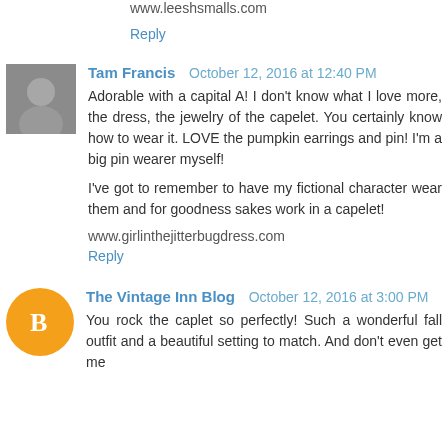www.leeshsmalls.com
Reply
Tam Francis  October 12, 2016 at 12:40 PM
Adorable with a capital A! I don't know what I love more, the dress, the jewelry of the capelet. You certainly know how to wear it. LOVE the pumpkin earrings and pin! I'm a big pin wearer myself!

I've got to remember to have my fictional character wear them and for goodness sakes work in a capelet!
www.girlinthejitterbugdress.com
Reply
The Vintage Inn Blog  October 12, 2016 at 3:00 PM
You rock the caplet so perfectly! Such a wonderful fall outfit and a beautiful setting to match. And don't even get me